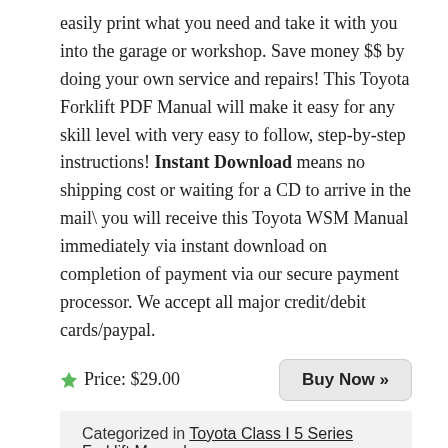easily print what you need and take it with you into the garage or workshop. Save money $$ by doing your own service and repairs! This Toyota Forklift PDF Manual will make it easy for any skill level with very easy to follow, step-by-step instructions! Instant Download means no shipping cost or waiting for a CD to arrive in the mail, you will receive this Toyota WSM Manual immediately via instant download on completion of payment via our secure payment processor. We accept all major credit/debit cards/paypal.
Price: $29.00
Buy Now »
Categorized in Toyota Class I 5 Series Forklift Manual
Related Products
Toyota 5FBCU25 Forklift Service Manual
Toyota 5FB15 Forklift Service Manual